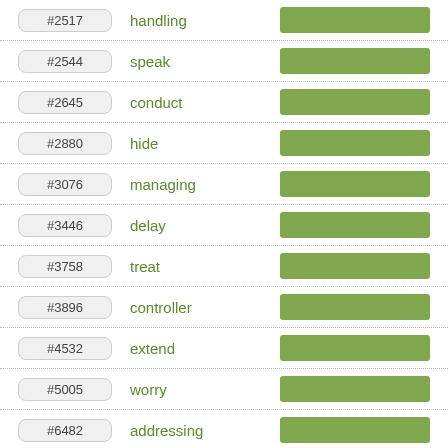#2517 handling
#2544 speak
#2645 conduct
#2880 hide
#3076 managing
#3446 delay
#3758 treat
#3896 controller
#4532 extend
#5005 worry
#6482 addressing